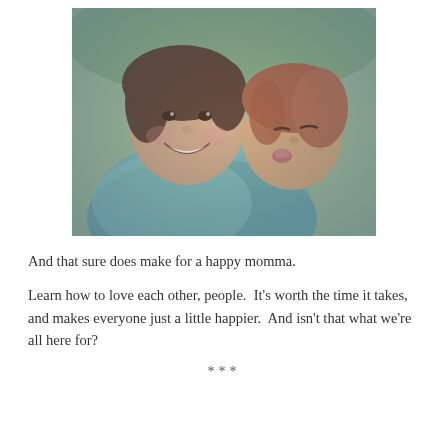[Figure (photo): A woman smiling broadly while a child with reddish-brown hair leans in to kiss her cheek. The woman is wearing a teal/green knit sweater. The background shows green grass. The photo has a slightly faded, vintage-filtered look.]
And that sure does make for a happy momma.
Learn how to love each other, people.  It's worth the time it takes, and makes everyone just a little happier.  And isn't that what we're all here for?
***